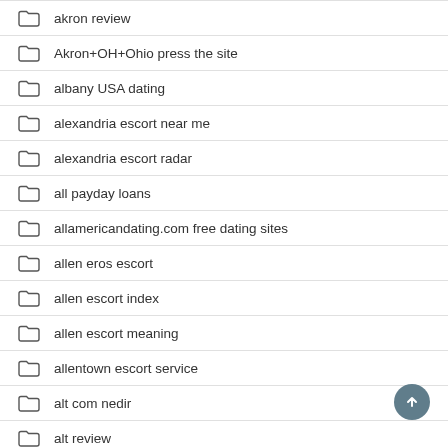akron review
Akron+OH+Ohio press the site
albany USA dating
alexandria escort near me
alexandria escort radar
all payday loans
allamericandating.com free dating sites
allen eros escort
allen escort index
allen escort meaning
allentown escort service
alt com nedir
alt review